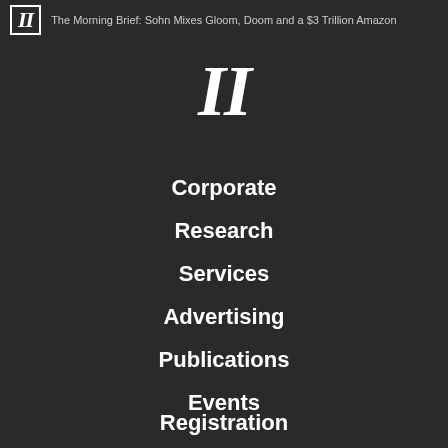II  The Morning Brief: Sohn Mixes Gloom, Doom and a $3 Trillion Amazon
II
Corporate
Research
Services
Advertising
Publications
Events
Registration